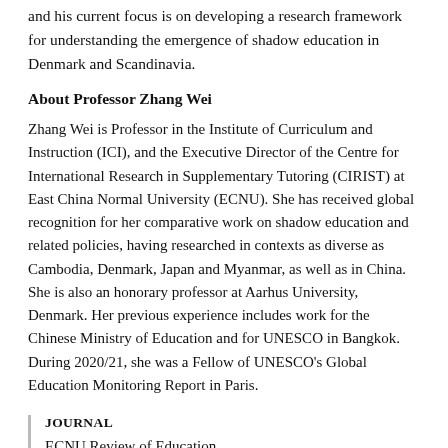and his current focus is on developing a research framework for understanding the emergence of shadow education in Denmark and Scandinavia.
About Professor Zhang Wei
Zhang Wei is Professor in the Institute of Curriculum and Instruction (ICI), and the Executive Director of the Centre for International Research in Supplementary Tutoring (CIRIST) at East China Normal University (ECNU). She has received global recognition for her comparative work on shadow education and related policies, having researched in contexts as diverse as Cambodia, Denmark, Japan and Myanmar, as well as in China. She is also an honorary professor at Aarhus University, Denmark. Her previous experience includes work for the Chinese Ministry of Education and for UNESCO in Bangkok. During 2020/21, she was a Fellow of UNESCO’s Global Education Monitoring Report in Paris.
JOURNAL
ECNU Review of Education